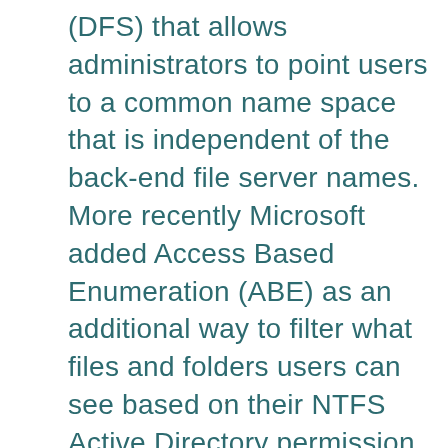(DFS) that allows administrators to point users to a common name space that is independent of the back-end file server names. More recently Microsoft added Access Based Enumeration (ABE) as an additional way to filter what files and folders users can see based on their NTFS Active Directory permission greatly reducing the need to create separate file server shares for each department or function unit.